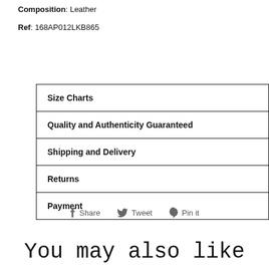Composition: Leather
Ref: 168AP012LKB865
| Size Charts |
| Quality and Authenticity Guaranteed |
| Shipping and Delivery |
| Returns |
| Payment |
Share   Tweet   Pin it
You may also like